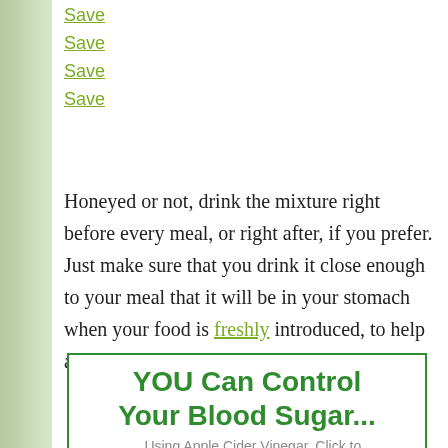Save
Save
Save
Save
Honeyed or not, drink the mixture right before every meal, or right after, if you prefer. Just make sure that you drink it close enough to your meal that it will be in your stomach when your food is freshly introduced, to help aid in the digestion process.
YOU Can Control Your Blood Sugar...
...Using Apple Cider Vinegar. Click to